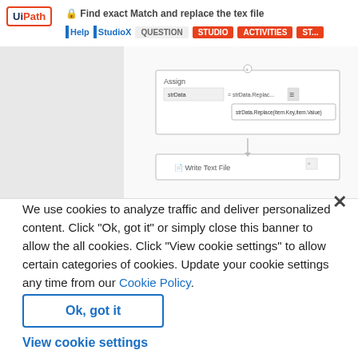Find exact Match and replace the tex file
[Figure (screenshot): UiPath Studio workflow screenshot showing Assign activity with strData.Replace(item.Key, item.Value) expression and Write Text File activity]
We use cookies to analyze traffic and deliver personalized content. Click “Ok, got it” or simply close this banner to allow the all cookies. Click "View cookie settings" to allow certain categories of cookies. Update your cookie settings any time from our Cookie Policy.
Ok, got it
View cookie settings